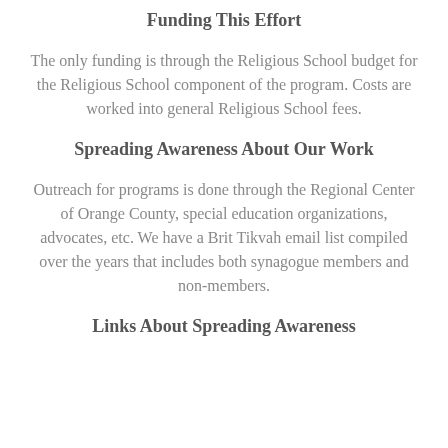Funding This Effort
The only funding is through the Religious School budget for the Religious School component of the program. Costs are worked into general Religious School fees.
Spreading Awareness About Our Work
Outreach for programs is done through the Regional Center of Orange County, special education organizations, advocates, etc. We have a Brit Tikvah email list compiled over the years that includes both synagogue members and non-members.
Links About Spreading Awareness